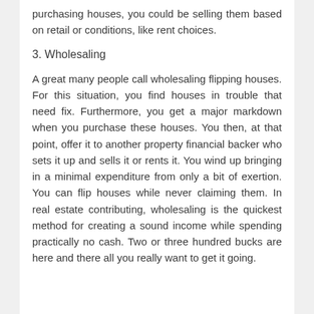purchasing houses, you could be selling them based on retail or conditions, like rent choices.
3. Wholesaling
A great many people call wholesaling flipping houses. For this situation, you find houses in trouble that need fix. Furthermore, you get a major markdown when you purchase these houses. You then, at that point, offer it to another property financial backer who sets it up and sells it or rents it. You wind up bringing in a minimal expenditure from only a bit of exertion. You can flip houses while never claiming them. In real estate contributing, wholesaling is the quickest method for creating a sound income while spending practically no cash. Two or three hundred bucks are here and there all you really want to get it going.